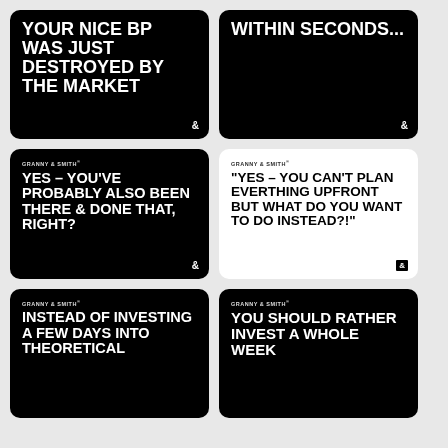[Figure (illustration): Black card with bold white text: YOUR NICE BP WAS JUST DESTROYED BY THE MARKET, with ampersand logo]
[Figure (illustration): Black card with bold white text: WITHIN SECONDS..., with ampersand logo]
[Figure (illustration): Black card with GRANNY & SMITH branding and bold white text: YES - YOU'VE PROBABLY ALSO BEEN THERE & DONE THAT, RIGHT?, with ampersand logo]
[Figure (illustration): White card with GRANNY & SMITH branding and bold black text: 'YES - YOU CAN'T PLAN EVERTHING UPFRONT BUT WHAT DO YOU WANT TO DO INSTEAD?!', with ampersand box logo]
[Figure (illustration): Black card with GRANNY & SMITH branding and bold white text: INSTEAD OF INVESTING A FEW DAYS INTO THEORETICAL]
[Figure (illustration): Black card with GRANNY & SMITH branding and bold white text: YOU SHOULD RATHER INVEST A WHOLE WEEK]